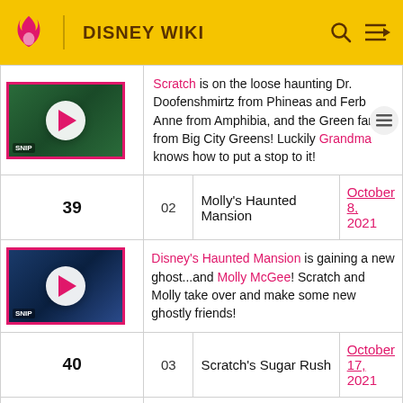DISNEY WIKI
| # | Ep | Title | Date |
| --- | --- | --- | --- |
|  |  | Scratch is on the loose haunting Dr. Doofenshmirtz from Phineas and Ferb Anne from Amphibia, and the Green family from Big City Greens! Luckily Grandma knows how to put a stop to it! |  |
| 39 | 02 | Molly's Haunted Mansion | October 8, 2021 |
|  |  | Disney's Haunted Mansion is gaining a new ghost...and Molly McGee! Scratch and Molly take over and make some new ghostly friends! |  |
| 40 | 03 | Scratch's Sugar Rush | October 17, 2021 |
|  |  | Sugar Rush! When Scratch and Molly go... |  |